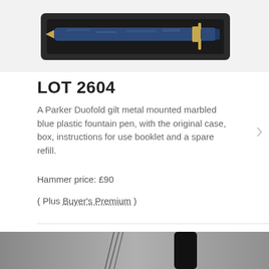[Figure (photo): Top portion of a Parker Duofold fountain pen in its case, with marbled blue plastic body and gilt metal fittings, shown in a black case on a white background. Image is partially cropped.]
LOT 2604
A Parker Duofold gilt metal mounted marbled blue plastic fountain pen, with the original case, box, instructions for use booklet and a spare refill.
Hammer price: £90
( Plus Buyer's Premium )
[Figure (photo): Bottom portion of the page showing a grey-toned photograph of two objects: what appears to be thin metal rods or wires on the left, and a black cylindrical pen on the right, on a grey background. Image is partially cropped.]